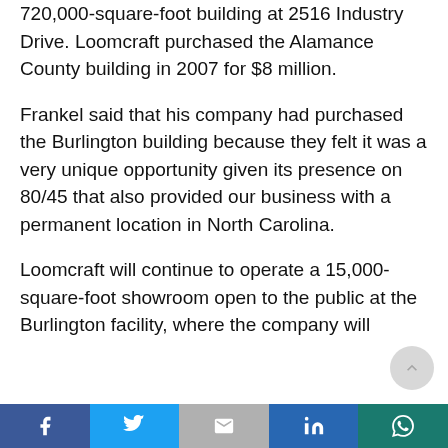720,000-square-foot building at 2516 Industry Drive. Loomcraft purchased the Alamance County building in 2007 for $8 million.
Frankel said that his company had purchased the Burlington building because they felt it was a very unique opportunity given its presence on 80/45 that also provided our business with a permanent location in North Carolina.
Loomcraft will continue to operate a 15,000-square-foot showroom open to the public at the Burlington facility, where the company will
Social share bar: Facebook, Twitter, Gmail, LinkedIn, WhatsApp